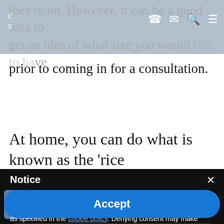they're on. However, it can be a good idea to get an idea of what size you would like to have
prior to coming in for a consultation.
At home, you can do what is known as the 'rice
Notice
We and selected third parties use cookies or similar technologies for technical purposes and, with your consent, for other purposes as specified in the cookie policy. Denying consent may make related features unavailable.
Use the "Accept" button or close this notice to consent to the use of such technologies.
Accept
Learn more and customise